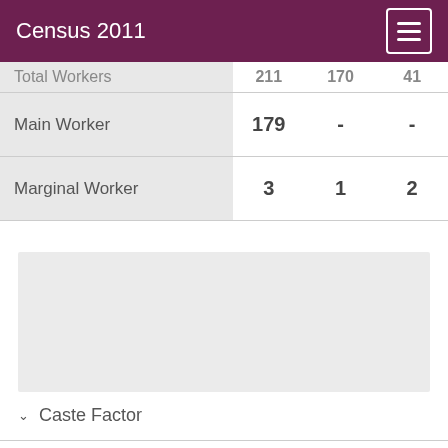Census 2011
|  |  |  |  |
| --- | --- | --- | --- |
| Total Workers | 211 | 170 | 41 |
| Main Worker | 179 | - | - |
| Marginal Worker | 3 | 1 | 2 |
[Figure (other): Grey placeholder area for a chart or graphic]
Caste Factor
Work Profile